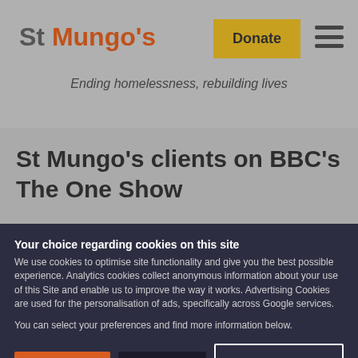St Mungo's — Donate
Ending homelessness, rebuilding lives
St Mungo's clients on BBC's The One Show
Your choice regarding cookies on this site
We use cookies to optimise site functionality and give you the best possible experience. Analytics cookies collect anonymous information about your use of this Site and enable us to improve the way it works. Advertising Cookies are used for the personalisation of ads, specifically across Google services.
You can select your preferences and find more information below.
Accept | Reject | Cookie Preferences